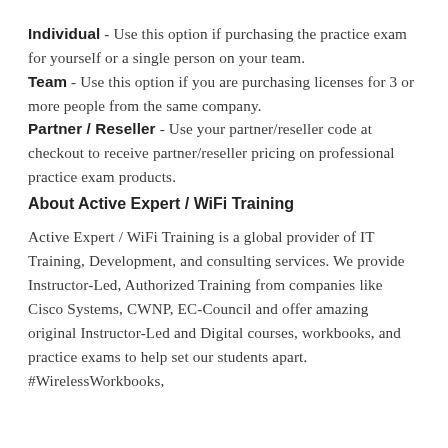Individual - Use this option if purchasing the practice exam for yourself or a single person on your team.
Team - Use this option if you are purchasing licenses for 3 or more people from the same company.
Partner / Reseller - Use your partner/reseller code at checkout to receive partner/reseller pricing on professional practice exam products.
About Active Expert / WiFi Training
Active Expert / WiFi Training is a global provider of IT Training, Development, and consulting services. We provide Instructor-Led, Authorized Training from companies like Cisco Systems, CWNP, EC-Council and offer amazing original Instructor-Led and Digital courses, workbooks, and practice exams to help set our students apart. #WirelessWorkbooks,